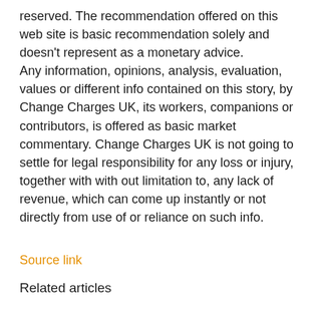reserved. The recommendation offered on this web site is basic recommendation solely and doesn't represent as a monetary advice. Any information, opinions, analysis, evaluation, values or different info contained on this story, by Change Charges UK, its workers, companions or contributors, is offered as basic market commentary. Change Charges UK is not going to settle for legal responsibility for any loss or injury, together with with out limitation to, any lack of revenue, which can come up instantly or not directly from use of or reliance on such info.
Source link
Related articles